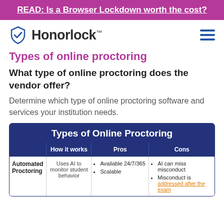READ: Is a Browser Lockdown worth the cost?
[Figure (logo): Honorlock logo with shield checkmark icon]
Types of online proctoring
What type of online proctoring does the vendor offer?
Determine which type of online proctoring software and services your institution needs.
|  | How it works | Pros | Cons |
| --- | --- | --- | --- |
| Automated Proctoring | Uses AI to monitor student behavior | Available 24/7/365
Scalable | AI can miss misconduct
Misconduct is addressed after the exam |